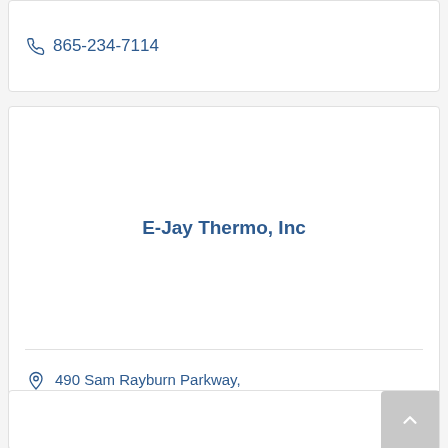865-234-7114
E-Jay Thermo, Inc
490 Sam Rayburn Parkway, Lenoir City, TN 37771
(865) 617-3361